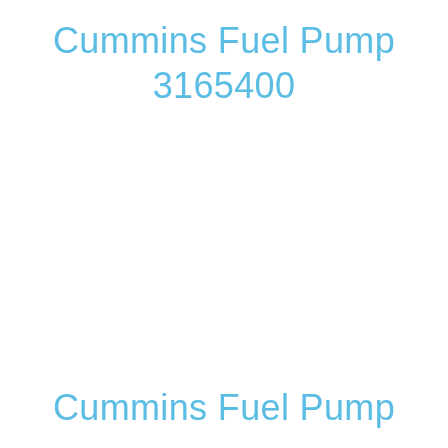Cummins Fuel Pump 3165400
Cummins Fuel Pump